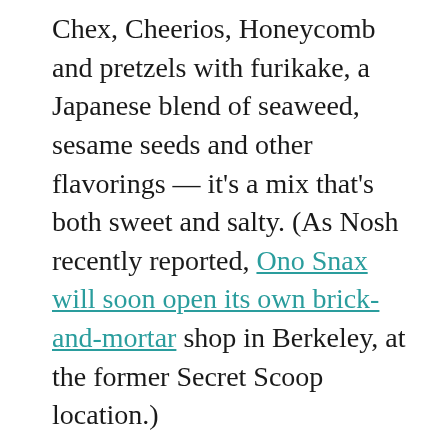Chex, Cheerios, Honeycomb and pretzels with furikake, a Japanese blend of seaweed, sesame seeds and other flavorings — it's a mix that's both sweet and salty. (As Nosh recently reported, Ono Snax will soon open its own brick-and-mortar shop in Berkeley, at the former Secret Scoop location.)